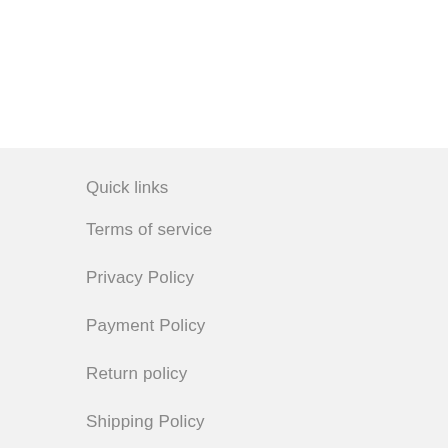Quick links
Terms of service
Privacy Policy
Payment Policy
Return policy
Shipping Policy
Refund policy